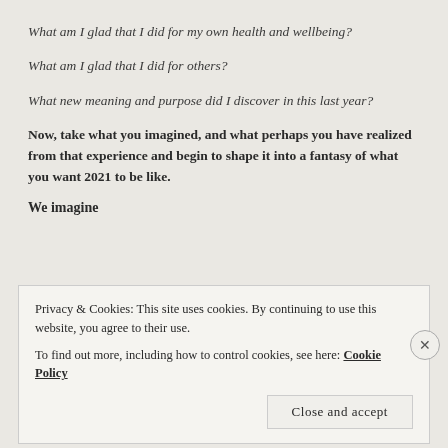What am I glad that I did for my own health and wellbeing?
What am I glad that I did for others?
What new meaning and purpose did I discover in this last year?
Now, take what you imagined, and what perhaps you have realized from that experience and begin to shape it into a fantasy of what you want 2021 to be like.
We imagine
Privacy & Cookies: This site uses cookies. By continuing to use this website, you agree to their use.
To find out more, including how to control cookies, see here: Cookie Policy
Close and accept